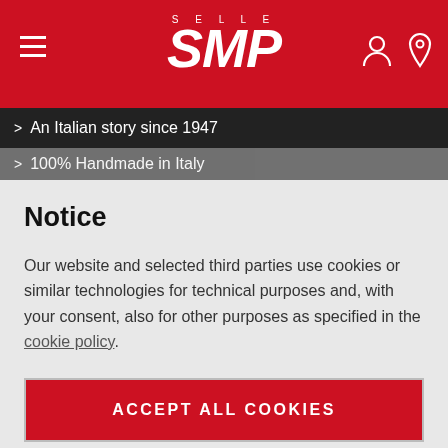SELLE SMP
> An Italian story since 1947
> 100% Handmade in Italy
Notice
Our website and selected third parties use cookies or similar technologies for technical purposes and, with your consent, also for other purposes as specified in the cookie policy.
ACCEPT ALL COOKIES
PRIVACY PREFERENCES